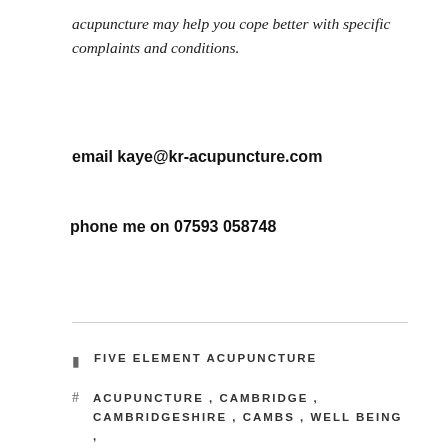acupuncture may help you cope better with specific complaints and conditions.
email kaye@kr-acupuncture.com
phone me on 07593 058748
FIVE ELEMENT ACUPUNCTURE
ACUPUNCTURE, CAMBRIDGE, CAMBRIDGESHIRE, CAMBS, WELL BEING, WILLINGHAM
PREVIOUS